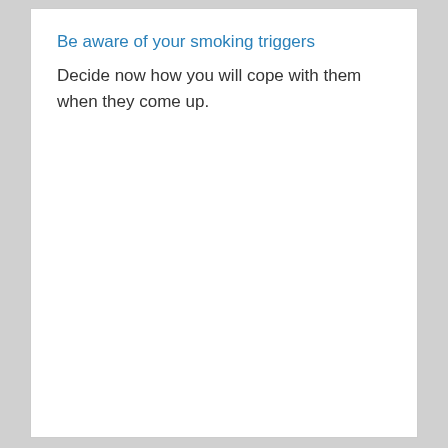Be aware of your smoking triggers
Decide now how you will cope with them when they come up.